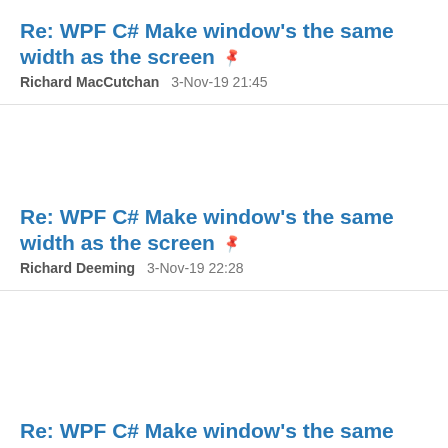Re: WPF C# Make window's the same width as the screen
Richard MacCutchan   3-Nov-19 21:45
Re: WPF C# Make window's the same width as the screen
Richard Deeming   3-Nov-19 22:28
Re: WPF C# Make window's the same width as the screen
Like every other website we use cookies. By using our site you acknowledge that you have read and understand our Cookie Policy, Privacy Policy, and our Terms of Service. Learn more
Ask me later   Decline   Allow cookies
...the same width as the screen
...he same width as the screen